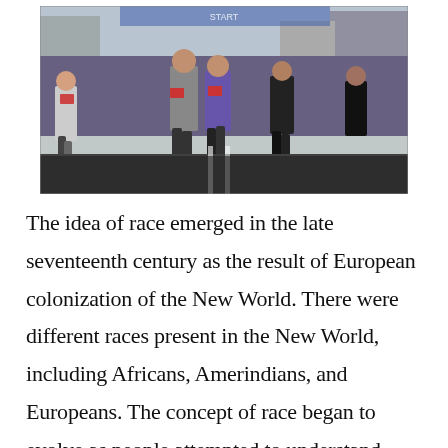[Figure (photo): A crowd of marathon runners at the start of a race, running on a city street. Many runners wear purple shirts with race bibs. Shot from ground level looking forward along the road.]
The idea of race emerged in the late seventeenth century as the result of European colonization of the New World. There were different races present in the New World, including Africans, Amerindians, and Europeans. The concept of race began to evolve as people attempted to understand differences in the people of the New World